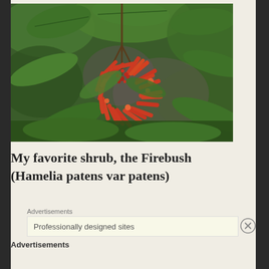[Figure (photo): Close-up photograph of Firebush (Hamelia patens var patens) plant with bright red-orange tubular flowers and green leaves against a blurred background.]
My favorite shrub, the Firebush (Hamelia patens var patens)
Advertisements
Professionally designed sites
Advertisements